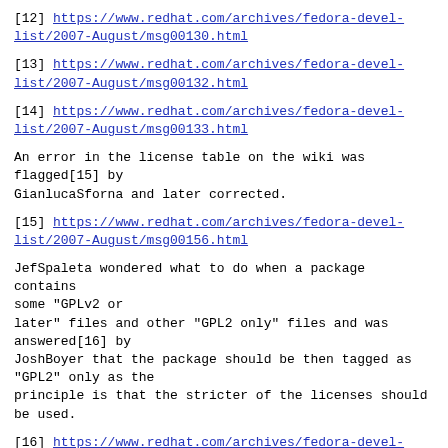[12] https://www.redhat.com/archives/fedora-devel-list/2007-August/msg00130.html
[13] https://www.redhat.com/archives/fedora-devel-list/2007-August/msg00132.html
[14] https://www.redhat.com/archives/fedora-devel-list/2007-August/msg00133.html
An error in the license table on the wiki was flagged[15] by GianlucaSforna and later corrected.
[15] https://www.redhat.com/archives/fedora-devel-list/2007-August/msg00156.html
JefSpaleta wondered what to do when a package contains some "GPLv2 or later" files and other "GPL2 only" files and was answered[16] by JoshBoyer that the package should be then tagged as "GPL2" only as the principle is that the stricter of the licenses should be used.
[16] https://www.redhat.com/archives/fedora-devel-list/2007-August/msg00227.html
In closing it should be noted that Spot is apparently willing to take